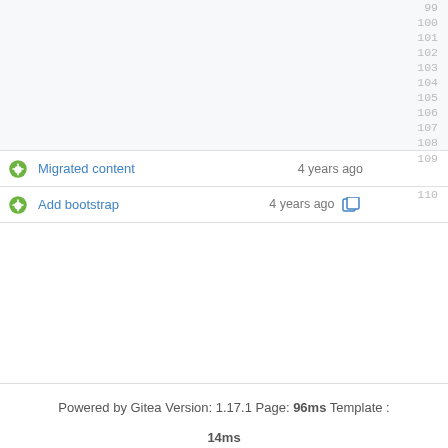[Figure (screenshot): File listing table with line numbers 99–108 (empty rows) and two commit rows: 'Migrated content 4 years ago 109' and 'Add bootstrap 4 years ago 110']
Powered by Gitea Version: 1.17.1 Page: 96ms Template : 14ms
English | Licenses | API | Website